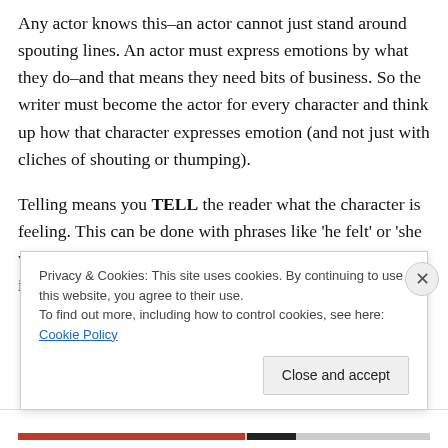Any actor knows this–an actor cannot just stand around spouting lines. An actor must express emotions by what they do–and that means they need bits of business. So the writer must become the actor for every character and think up how that character expresses emotion (and not just with cliches of shouting or thumping).
Telling means you TELL the reader what the character is feeling. This can be done with phrases like 'he felt' or 'she was angry'. The trouble with telling the reader this information is the reader doesn't get a chance to SEE the
Privacy & Cookies: This site uses cookies. By continuing to use this website, you agree to their use.
To find out more, including how to control cookies, see here: Cookie Policy